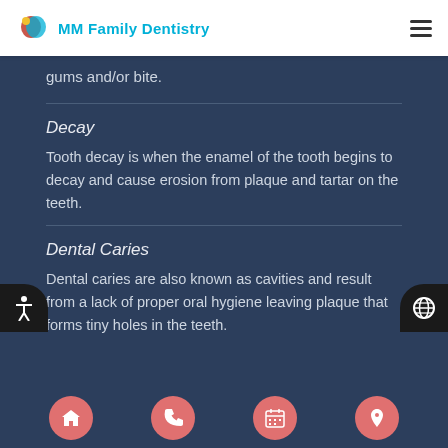MM Family Dentistry
gums and/or bite.
Decay
Tooth decay is when the enamel of the tooth begins to decay and cause erosion from plaque and tartar on the teeth.
Dental Caries
Dental caries are also known as cavities and result from a lack of proper oral hygiene leaving plaque that forms tiny holes in the teeth.